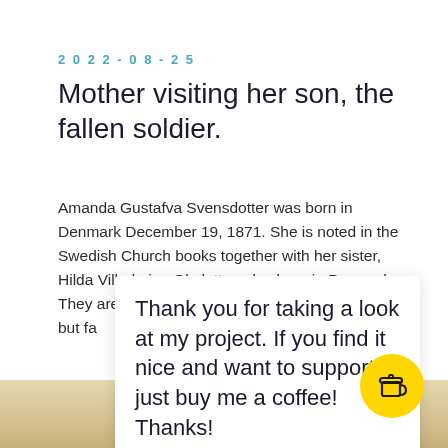2022-08-25
Mother visiting her son, the fallen soldier.
Amanda Gustafva Svensdotter was born in Denmark December 19, 1871. She is noted in the Swedish Church books together with her sister, Hilda Vilhelmina Olsdotter, also born in Denmark. They are noted to live with their mother Christina, but fa
Thank you for taking a look at my project. If you find it nice and want to support it, just buy me a coffee! Thanks!
[Figure (photo): Partial photo of a person visible at the bottom of the page, appearing sepia-toned or vintage.]
[Figure (illustration): Yellow circular button with a coffee cup icon (buy me a coffee button).]